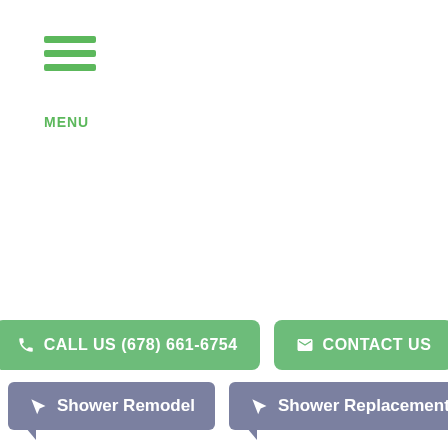[Figure (other): Hamburger menu icon with three green horizontal bars and MENU label below]
CALL US (678) 661-6754
CONTACT US
Shower Remodel
Shower Replacement